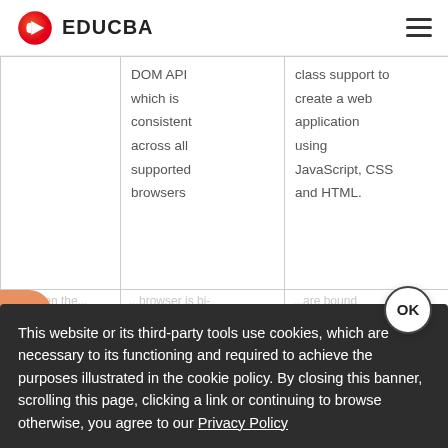EDUCBA
|  |  |  |
| --- | --- | --- |
|  | DOM API which is consistent across all supported browsers | class support to create a web application using JavaScript, CSS and HTML. |
| 4. ... | ...browser is bi- ... | ...l. ...means UI ...between UI... ...are bound elements (i.e. DOM)... ...to model data ... |
This website or its third-party tools use cookies, which are necessary to its functioning and required to achieve the purposes illustrated in the cookie policy. By closing this banner, scrolling this page, clicking a link or continuing to browse otherwise, you agree to our Privacy Policy